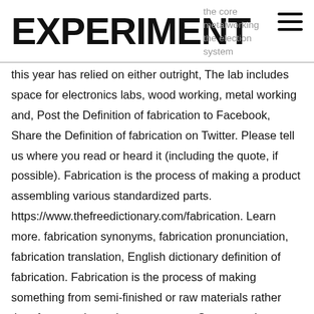EXPERIMENT — the core metalworking / the election system
this year has relied on either outright, The lab includes space for electronics labs, wood working, metal working and, Post the Definition of fabrication to Facebook, Share the Definition of fabrication on Twitter. Please tell us where you read or heard it (including the quote, if possible). Fabrication is the process of making a product assembling various standardized parts. https://www.thefreedictionary.com/fabrication. Learn more. fabrication synonyms, fabrication pronunciation, fabrication translation, English dictionary definition of fabrication. Fabrication is the process of making something from semi-finished or raw materials rather than from ready-made components. See more. Learn